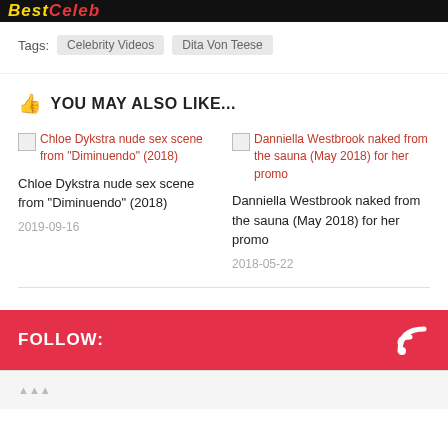BestCeleb (logo/header bar)
Tags: Celebrity Videos  Dita Von Teese
YOU MAY ALSO LIKE...
Chloe Dykstra nude sex scene from "Diminuendo" (2018)
2019-09-16
Danniella Westbrook naked from the sauna (May 2018) for her promo
2018-05-22
FOLLOW: